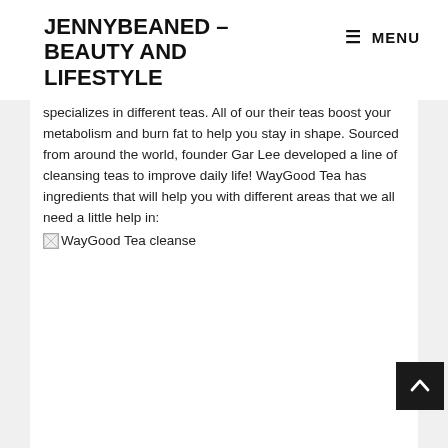JENNYBEANED – BEAUTY AND LIFESTYLE   ☰ MENU
specializes in different teas. All of our their teas boost your metabolism and burn fat to help you stay in shape. Sourced from around the world, founder Gar Lee developed a line of cleansing teas to improve daily life! WayGood Tea has ingredients that will help you with different areas that we all need a little help in:
[Figure (photo): Broken image placeholder with alt text 'WayGood Tea cleanse']